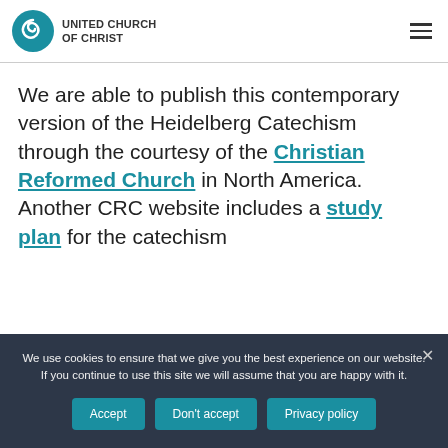[Figure (logo): United Church of Christ logo with spiral wave icon and organization name in caps]
We are able to publish this contemporary version of the Heidelberg Catechism through the courtesy of the Christian Reformed Church in North America. Another CRC website includes a study plan for the catechism
We use cookies to ensure that we give you the best experience on our website. If you continue to use this site we will assume that you are happy with it.
Accept | Don't accept | Privacy policy